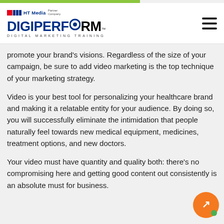HT Media Partner Company DIGIPERFORM DIGITAL MARKETING TRAINING
promote your brand’s visions. Regardless of the size of your campaign, be sure to add video marketing is the top technique of your marketing strategy.
Video is your best tool for personalizing your healthcare brand and making it a relatable entity for your audience. By doing so, you will successfully eliminate the intimidation that people naturally feel towards new medical equipment, medicines, treatment options, and new doctors.
Your video must have quantity and quality both: there’s no compromising here and getting good content out consistently is an absolute must for business.